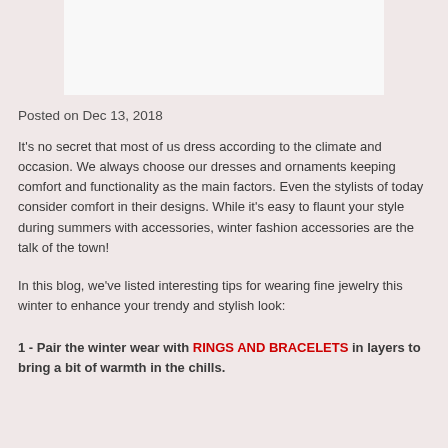[Figure (photo): Placeholder image area at top of blog post]
Posted on Dec 13, 2018
It's no secret that most of us dress according to the climate and occasion. We always choose our dresses and ornaments keeping comfort and functionality as the main factors. Even the stylists of today consider comfort in their designs. While it's easy to flaunt your style during summers with accessories, winter fashion accessories are the talk of the town!
In this blog, we've listed interesting tips for wearing fine jewelry this winter to enhance your trendy and stylish look:
1 - Pair the winter wear with RINGS AND BRACELETS in layers to bring a bit of warmth in the chills.